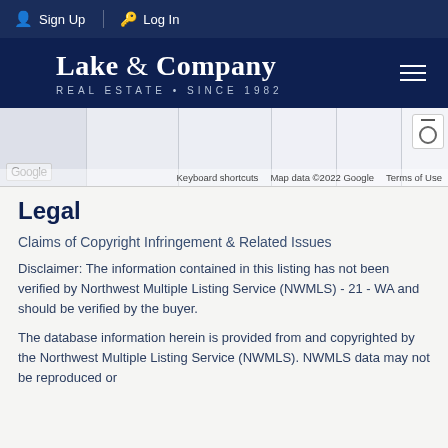Sign Up   Log In
[Figure (logo): Lake & Company Real Estate Since 1982 logo on dark navy background with hamburger menu icon]
[Figure (screenshot): Google Maps partial view with keyboard shortcuts, map data copyright 2022 Google, Terms of Use links]
Legal
Claims of Copyright Infringement & Related Issues
Disclaimer: The information contained in this listing has not been verified by Northwest Multiple Listing Service (NWMLS) - 21 - WA and should be verified by the buyer.
The database information herein is provided from and copyrighted by the Northwest Multiple Listing Service (NWMLS). NWMLS data may not be reproduced or redistributed and is only for people viewing this site.